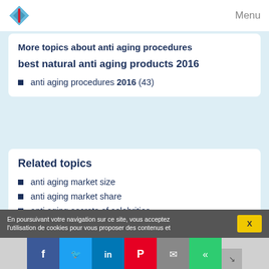Menu
More topics about anti aging procedures
best natural anti aging products 2016
anti aging procedures 2016 (43)
Related topics
anti aging market size
anti aging market share
anti aging secrets of celebrities
best natural anti aging tricks
anti aging market research
En poursuivant votre navigation sur ce site, vous acceptez l'utilisation de cookies pour vous proposer des contenus et
X